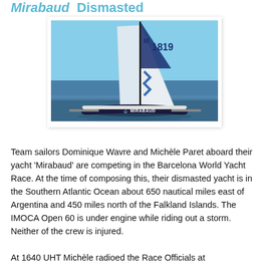Mirabaud  Dismasted
[Figure (photo): Sailing yacht 'Mirabaud' (sail number 1819) with blue and white sails and IMOCA Open 60 hull, sailing on the ocean with blue sky in background]
Team sailors Dominique Wavre and Michèle Paret aboard their yacht 'Mirabaud' are competing in the Barcelona World Yacht Race. At the time of composing this, their dismasted yacht is in the Southern Atlantic Ocean about 650 nautical miles east of Argentina and 450 miles north of the Falkland Islands. The IMOCA Open 60 is under engine while riding out a storm. Neither of the crew is injured.
At 1640 UHT Michèle radioed the Race Officials at